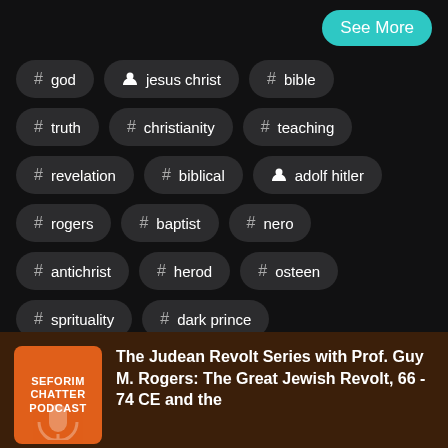See More
# god
jesus christ
# bible
# truth
# christianity
# teaching
# revelation
# biblical
adolf hitler
# rogers
# baptist
# nero
# antichrist
# herod
# osteen
# sprituality
# dark prince
The Judean Revolt Series with Prof. Guy M. Rogers: The Great Jewish Revolt, 66 - 74 CE and the